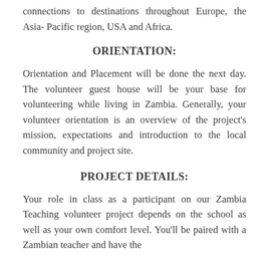connections to destinations throughout Europe, the Asia- Pacific region, USA and Africa.
ORIENTATION:
Orientation and Placement will be done the next day. The volunteer guest house will be your base for volunteering while living in Zambia. Generally, your volunteer orientation is an overview of the project's mission, expectations and introduction to the local community and project site.
PROJECT DETAILS:
Your role in class as a participant on our Zambia Teaching volunteer project depends on the school as well as your own comfort level. You'll be paired with a Zambian teacher and have the